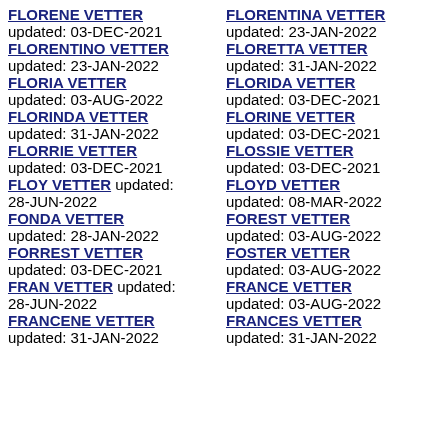FLORENE VETTER updated: 03-DEC-2021
FLORENTINO VETTER updated: 23-JAN-2022
FLORIA VETTER updated: 03-AUG-2022
FLORINDA VETTER updated: 31-JAN-2022
FLORRIE VETTER updated: 03-DEC-2021
FLOY VETTER updated: 28-JUN-2022
FONDA VETTER updated: 28-JAN-2022
FORREST VETTER updated: 03-DEC-2021
FRAN VETTER updated: 28-JUN-2022
FRANCENE VETTER updated: 31-JAN-2022
FLORENTINA VETTER updated: 23-JAN-2022
FLORETTA VETTER updated: 31-JAN-2022
FLORIDA VETTER updated: 03-DEC-2021
FLORINE VETTER updated: 03-DEC-2021
FLOSSIE VETTER updated: 03-DEC-2021
FLOYD VETTER updated: 08-MAR-2022
FOREST VETTER updated: 03-AUG-2022
FOSTER VETTER updated: 03-AUG-2022
FRANCE VETTER updated: 03-AUG-2022
FRANCES VETTER updated: 31-JAN-2022